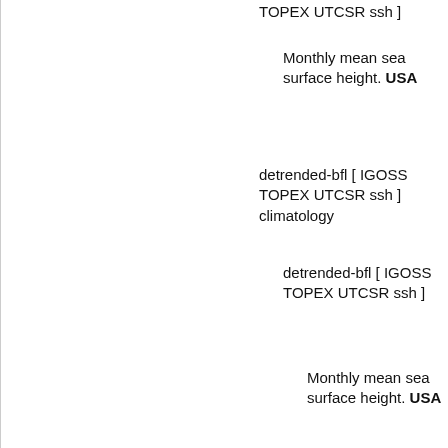TOPEX UTCSR ssh ]
Monthly mean sea surface height. USA
detrended-bfl [ IGOSS TOPEX UTCSR ssh ] climatology
detrended-bfl [ IGOSS TOPEX UTCSR ssh ]
Monthly mean sea surface height. USA
Averaged over T2[Oct 1992 - Sep 1993, Oct 1993 - Sep 1994]